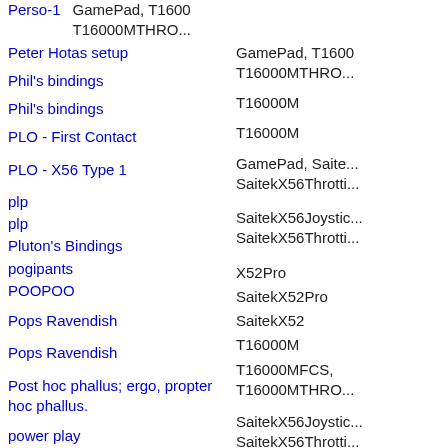Perso-1 | GamePad, T16000, T16000MTHRO...
Peter Hotas setup | GamePad, T16000, T16000MTHRO...
Phil's bindings | T16000M
Phil's bindings | T16000M
PLO - First Contact | GamePad, Saite... SaitekX56Throtti...
PLO - X56 Type 1 | SaitekX56Joystic... SaitekX56Throtti...
plp | X52Pro
plp | SaitekX52Pro
Pluton's Bindings | SaitekX52
pogipants | T16000M
POOPOO | T16000MFCS, T16000MTHRO...
Pops Ravendish | SaitekX56Joystic... SaitekX56Throtti...
Pops Ravendish | SaitekX56Joystic... SaitekX56Throtti...
Post hoc phallus; ergo, propter hoc phallus. | SaitekX56Joystic... SaitekX56Throtti...
power play